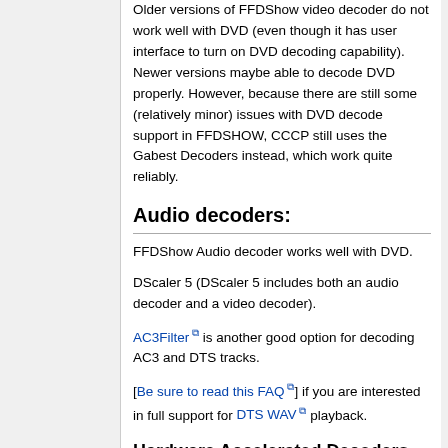Older versions of FFDShow video decoder do not work well with DVD (even though it has user interface to turn on DVD decoding capability). Newer versions maybe able to decode DVD properly. However, because there are still some (relatively minor) issues with DVD decode support in FFDSHOW, CCCP still uses the Gabest Decoders instead, which work quite reliably.
Audio decoders:
FFDShow Audio decoder works well with DVD.
DScaler 5 (DScaler 5 includes both an audio decoder and a video decoder).
AC3Filter [external link] is another good option for decoding AC3 and DTS tracks.
[Be sure to read this FAQ [external link]] if you are interested in full support for DTS WAV [external link] playback.
Hardware Accelerated Decoders
Both the AMD AVIVO technology and the Nvidia PureVideo technology mentioned below